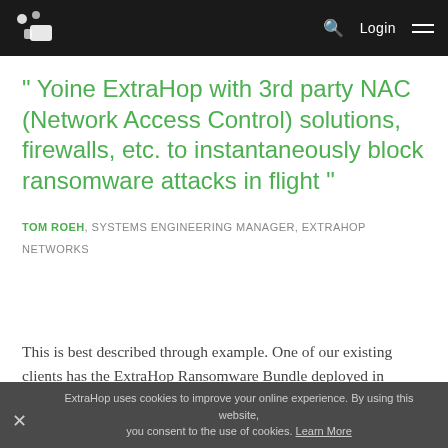ExtraHop navigation bar with logo, search, Login, and menu
" Yoine ExtraHop with 3rd party NAC (Network Access Control) solutions, firewalls, etc. to instantaneously block ransomware attacks in flight "
TOM ROEH, SYSTEMS ENGINEERING MANAGER, EXTRAHOP NETWORKS
This is best described through example. One of our existing clients has the ExtraHop Ransomware Bundle deployed in conjunction with an industry leading NAC solution. This
ExtraHop uses cookies to improve your online experience. By using this website, you consent to the use of cookies. Learn More